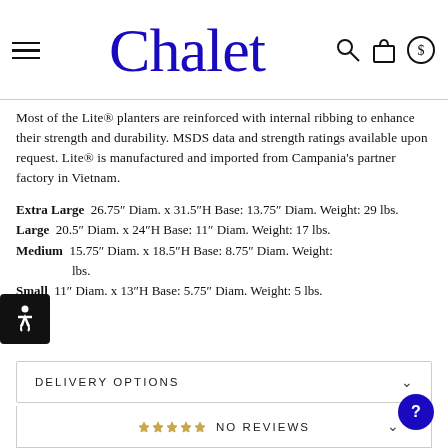Chalet
Most of the Lite® planters are reinforced with internal ribbing to enhance their strength and durability. MSDS data and strength ratings available upon request. Lite® is manufactured and imported from Campania's partner factory in Vietnam.
Extra Large  26.75″ Diam. x 31.5″H Base: 13.75″ Diam. Weight: 29 lbs.
Large  20.5″ Diam. x 24″H Base: 11″ Diam. Weight: 17 lbs.
Medium  15.75″ Diam. x 18.5″H Base: 8.75″ Diam. Weight: [lbs.]
Small  11″ Diam. x 13″H Base: 5.75″ Diam. Weight: 5 lbs.
DELIVERY OPTIONS
NO REVIEWS